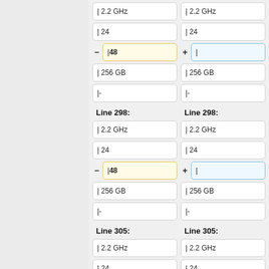| 2.2 GHz
| 2.2 GHz
| 24
| 24
| 48
|
| 256 GB
| 256 GB
|-
|-
Line 298:
Line 298:
| 2.2 GHz
| 2.2 GHz
| 24
| 24
| 48
|
| 256 GB
| 256 GB
|-
|-
Line 305:
Line 305:
| 2.2 GHz
| 2.2 GHz
| 24
| 24